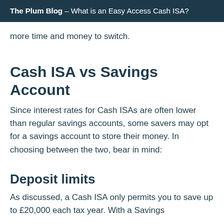The Plum Blog – What is an Easy Access Cash ISA?
more time and money to switch.
Cash ISA vs Savings Account
Since interest rates for Cash ISAs are often lower than regular savings accounts, some savers may opt for a savings account to store their money. In choosing between the two, bear in mind:
Deposit limits
As discussed, a Cash ISA only permits you to save up to £20,000 each tax year. With a Savings